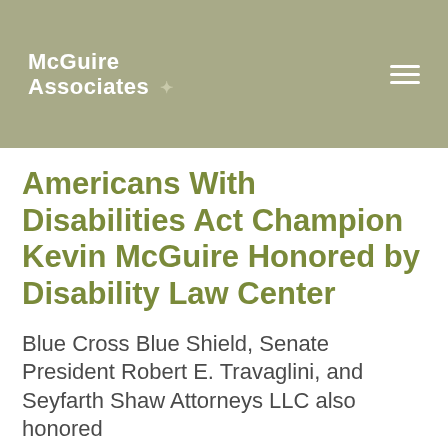[Figure (logo): McGuire Associates logo with white text and diamond shape on olive/sage green background header bar]
Americans With Disabilities Act Champion Kevin McGuire Honored by Disability Law Center
Blue Cross Blue Shield, Senate President Robert E. Travaglini, and Seyfarth Shaw Attorneys LLC also honored
Boston, MA (September 15, 2005) — People with disabilities need advocates to ensure corporate and